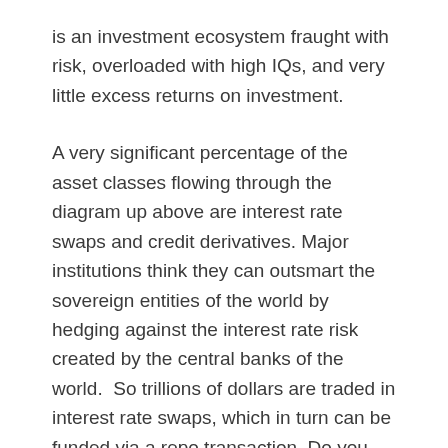is an investment ecosystem fraught with risk, overloaded with high IQs, and very little excess returns on investment.
A very significant percentage of the asset classes flowing through the diagram up above are interest rate swaps and credit derivatives. Major institutions think they can outsmart the sovereign entities of the world by hedging against the interest rate risk created by the central banks of the world.  So trillions of dollars are traded in interest rate swaps, which in turn can be funded via a repo transaction. Do you see how the complexity of the financial system’s plumbing increases total system risk?